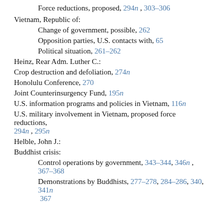Force reductions, proposed, 294n, 303–306
Vietnam, Republic of:
Change of government, possible, 262
Opposition parties, U.S. contacts with, 65
Political situation, 261–262
Heinz, Rear Adm. Luther C.:
Crop destruction and defoliation, 274n
Honolulu Conference, 270
Joint Counterinsurgency Fund, 195n
U.S. information programs and policies in Vietnam, 116n
U.S. military involvement in Vietnam, proposed force reductions, 294n, 295n
Helble, John J.:
Buddhist crisis:
Control operations by government, 343–344, 346n, 367–368
Demonstrations by Buddhists, 277–278, 284–286, 340, 341n, 367